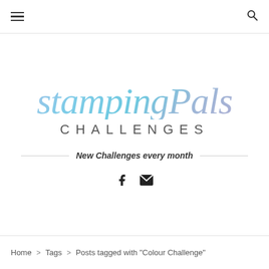≡  🔍
[Figure (logo): StampingPals Challenges logo in watercolor script style with gradient blues and purples]
New Challenges every month
[Figure (infographic): Facebook and email social icons]
Home > Tags > Posts tagged with "Colour Challenge"